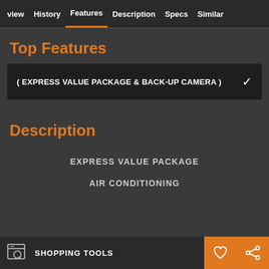view  History  Features  Description  Specs  Similar
Top Features
( EXPRESS VALUE PACKAGE & BACK-UP CAMERA )
Description
EXPRESS VALUE PACKAGE
AIR CONDITIONING
SHOPPING TOOLS